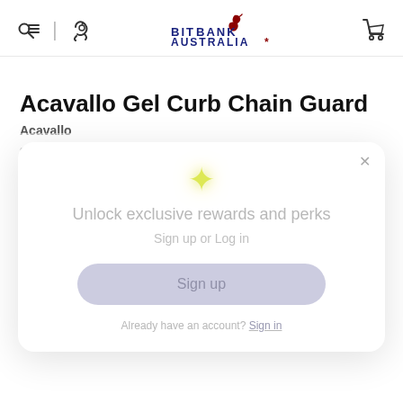Bit Bank Australia
Acavallo Gel Curb Chain Guard
Acavallo
$- - - -
[Figure (screenshot): Modal popup with sparkle icon, text 'Unlock exclusive rewards and perks', 'Sign up or Log in', a Sign up button, and 'Already have an account? Sign in' link. Close X button in top right corner.]